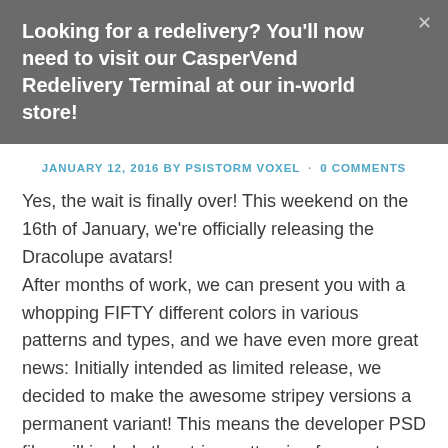Looking for a redelivery? You'll now need to visit our CasperVend Redelivery Terminal at our in-world store!
JANUARY 12, 2016 BY PSISTORM VOXEL · 0 COMMENTS
Yes, the wait is finally over! This weekend on the 16th of January, we're officially releasing the Dracolupe avatars!
After months of work, we can present you with a whopping FIFTY different colors in various patterns and types, and we have even more great news: Initially intended as limited release, we decided to make the awesome stripey versions a permanent variant! This means the developer PSD files will include the stripe patterning for you to use, as well!
So be sure to mark this Saturday in your calendars, since at 2pm SL time, we'll be hosting another great big